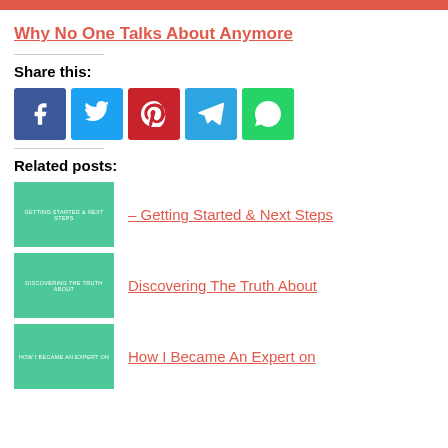Why No One Talks About Anymore
Share this:
[Figure (infographic): Social share buttons: Facebook (blue), Twitter (light blue), Pinterest (red), Telegram (blue), WhatsApp (green)]
Related posts:
[Figure (illustration): Green thumbnail image with white text: GETTING STARTED &AMP; NEXT STEPS]
– Getting Started & Next Steps
[Figure (illustration): Green thumbnail image with white text: DISCOVERING THE TRUTH ABOUT]
Discovering The Truth About
[Figure (illustration): Green thumbnail image with white text: HOW I BECAME AN EXPERT ON]
How I Became An Expert on